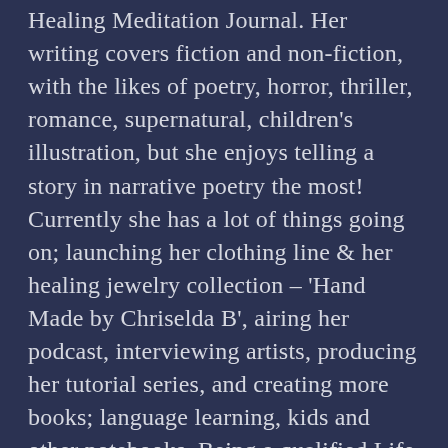Healing Meditation Journal. Her writing covers fiction and non-fiction, with the likes of poetry, horror, thriller, romance, supernatural, children's illustration, but she enjoys telling a story in narrative poetry the most! Currently she has a lot of things going on; launching her clothing line & her healing jewelry collection – 'Hand Made by Chriselda B', airing her podcast, interviewing artists, producing her tutorial series, and creating more books; language learning, kids and other notebooks. Being a qualified Life Coach and Motivational Speaker, she also practices NLP and Mindfulness. Aiming to share her knowledge and experience, she is a speaker on many topics ranging from Creative Writing, Personal Development, Aerotoxic Syndrome to Aviation Safety and Self-Publishing. Along with being a Zumba and Yoga Instructor, Chriselda also is a Holistic Counsellor & a Reiki & Aura – Chakra Healer. Find her hardcover/paperback books on Amazon worldwide & Blurb. Digitally her eBooks can be found at Kindle, B&N, iTunes, Tolino, Kobo, Scribd, Playster, Overdrive, 24Symbols